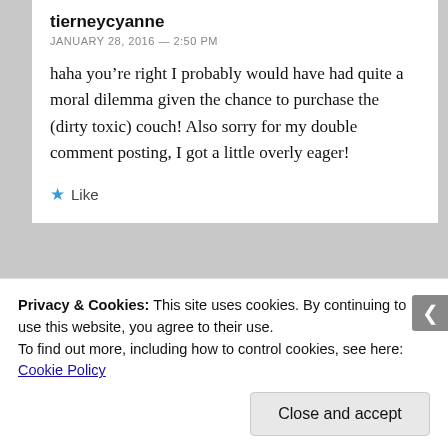tierneycyanne
JANUARY 28, 2016 — 2:50 PM
haha you're right I probably would have had quite a moral dilemma given the chance to purchase the (dirty toxic) couch! Also sorry for my double comment posting, I got a little overly eager!
Like
Privacy & Cookies: This site uses cookies. By continuing to use this website, you agree to their use.
To find out more, including how to control cookies, see here: Cookie Policy
Close and accept